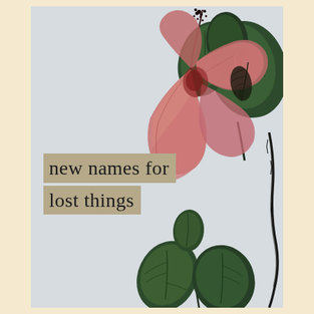[Figure (illustration): Book cover with light gray background, botanical collage of a pink hibiscus flower with stamen top-center-left, dark green leaves upper-right, dark twisting stem right side, and green leaf branch lower-center-right. Title text in tan/khaki background boxes overlaid on center-left.]
new names for lost things